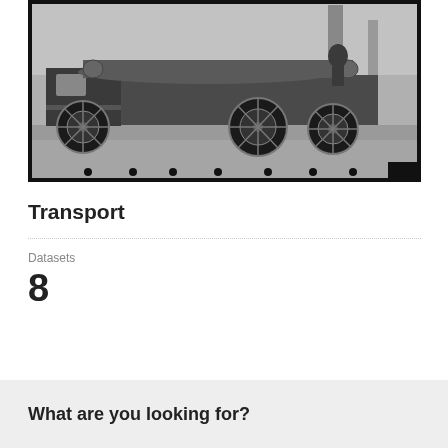[Figure (photo): Black and white vintage photograph of a logging truck with large wooden logs loaded on its flatbed, with spoked wheels visible, on a road.]
Transport
Datasets
8
What are you looking for?